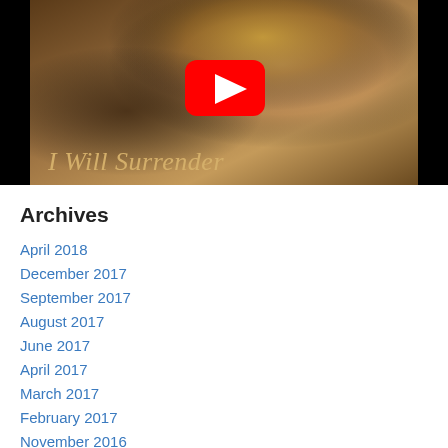[Figure (screenshot): YouTube video thumbnail showing a woman with blonde hair, text overlay reading 'I Will Surrender' in italic gold serif font, with a red YouTube play button in the center]
Archives
April 2018
December 2017
September 2017
August 2017
June 2017
April 2017
March 2017
February 2017
November 2016
October 2016